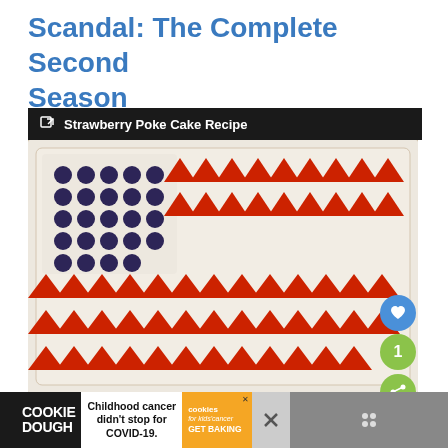Scandal: The Complete Second Season
[Figure (photo): A strawberry poke cake decorated to look like an American flag, with blueberries in the top-left corner and rows of sliced strawberries across a white cream frosting base. The image is shown beneath a dark header bar reading 'Strawberry Poke Cake Recipe' with a link icon. Social sharing buttons (heart/like, number 1, and share icon) appear on the right side.]
COOKIE DOUGH   Childhood cancer didn't stop for COVID-19.   cookies for kids' cancer   GET BAKING   ✕